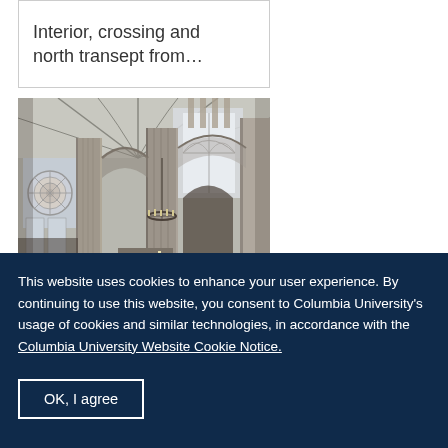Interior, crossing and north transept from…
[Figure (photo): Cathedral interior showing gothic arches, tall stone columns, vaulted ceiling, rose window, and hanging chandelier]
This website uses cookies to enhance your user experience. By continuing to use this website, you consent to Columbia University's usage of cookies and similar technologies, in accordance with the Columbia University Website Cookie Notice.
OK, I agree